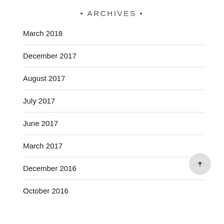• ARCHIVES •
March 2018
December 2017
August 2017
July 2017
June 2017
March 2017
December 2016
October 2016